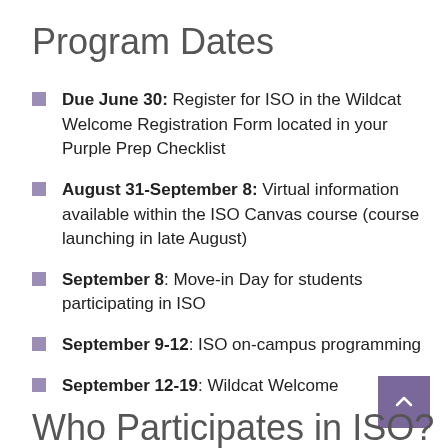Program Dates
Due June 30: Register for ISO in the Wildcat Welcome Registration Form located in your Purple Prep Checklist
August 31-September 8: Virtual information available within the ISO Canvas course (course launching in late August)
September 8: Move-in Day for students participating in ISO
September 9-12: ISO on-campus programming
September 12-19: Wildcat Welcome
Who Participates in ISO?